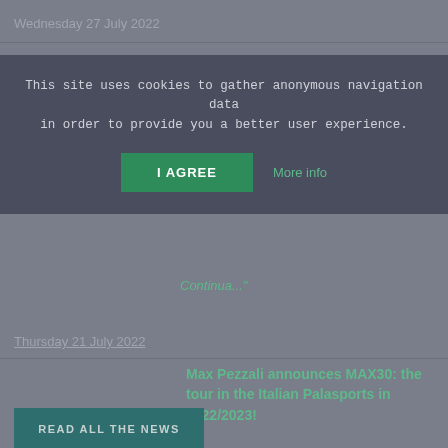Wednesday 27 July 2022
This site uses cookies to gather anonymous navigation data in order to provide you a better user experience.
I AGREE
More info
Continua..."
Thursday 21 July 2022
Max Pezzali announces MAX30: the tour in the Italian Palasports in 2022/2023!
READ ALL THE NEWS